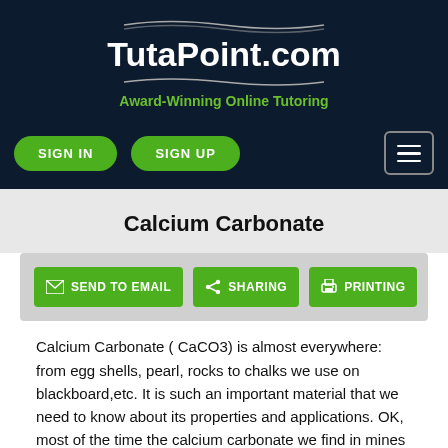[Figure (logo): TutaPoint.com logo with decorative lines and tagline 'Award-Winning Online Tutoring' on dark navy background]
SIGN IN   SIGN UP
Calcium Carbonate
SEND TO EMAIL   SHARING   PRINTING
Calcium Carbonate ( CaCO3) is almost everywhere: from egg shells, pearl, rocks to chalks we use on blackboard,etc. It is such an important material that we need to know about its properties and applications. OK, most of the time the calcium carbonate we find in mines are not 100% pure. In order to purify that to meet industrial standards, we ususally convert it